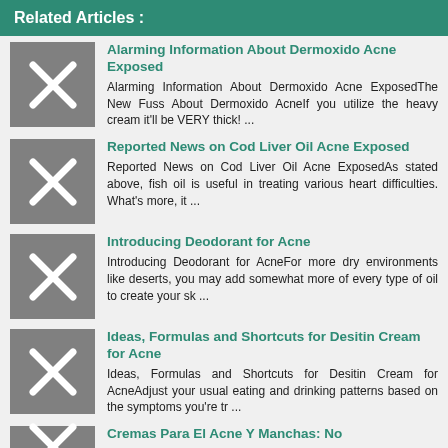Related Articles :
Alarming Information About Dermoxido Acne Exposed
Alarming Information About Dermoxido Acne ExposedThe New Fuss About Dermoxido AcneIf you utilize the heavy cream it'll be VERY thick! ...
Reported News on Cod Liver Oil Acne Exposed
Reported News on Cod Liver Oil Acne ExposedAs stated above, fish oil is useful in treating various heart difficulties. What's more, it ...
Introducing Deodorant for Acne
Introducing Deodorant for AcneFor more dry environments like deserts, you may add somewhat more of every type of oil to create your sk ...
Ideas, Formulas and Shortcuts for Desitin Cream for Acne
Ideas, Formulas and Shortcuts for Desitin Cream for AcneAdjust your usual eating and drinking patterns based on the symptoms you're tr ...
Cremas Para El Acne Y Manchas: No